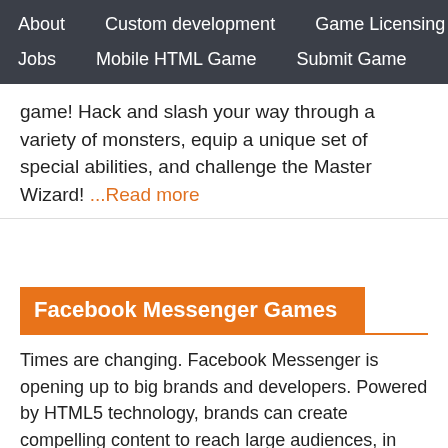About   Custom development   Game Licensing   Jobs   Mobile HTML Game   Submit Game
game! Hack and slash your way through a variety of monsters, equip a unique set of special abilities, and challenge the Master Wizard! ...Read more
Facebook Messenger Games
Times are changing. Facebook Messenger is opening up to big brands and developers. Powered by HTML5 technology, brands can create compelling content to reach large audiences, in short amounts of time.
We created FBmessengergames.com, a website to track